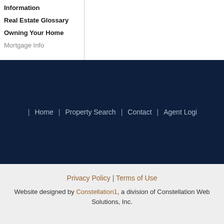Information
Real Estate Glossary
Owning Your Home
Mortgage Info
Home | Property Search | Contact | Agent Logi
Privacy Policy | Terms of Use
Website designed by Constellation1, a division of Constellation Web Solutions, Inc.